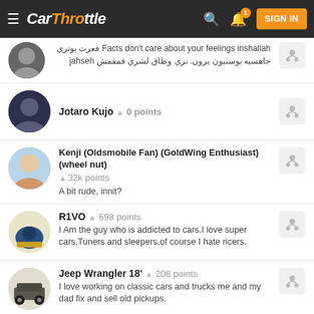[Figure (screenshot): CarThrottle website header with logo, search icon, notification bell with badge '1', and SIGN IN button]
Facts don't care about your feelings inshallah فعرت يوتري جاهسيه بوسنيون يرون. نري وطاق لشري قمقمش jahseh
Jotaro Kujo  0 points
Kenji (Oldsmobile Fan) (GoldWing Enthusiast) (wheel nut)  32k points
A bit rude, innit?
R1VO  698 points
I Am the guy who is addicted to cars.I love super cars,Tuners and sleepers,of course I hate ricers.
Jeep Wrangler 18'  208 points
I love working on classic cars and trucks me and my dad fix and sell old pickups.
Duffy  3.6k points
I'm only 16 but I've always loved old cars. I have a 1971 Riviera, a 1967 International Scout, a 1980 Yamaha MX80, and I build and sell go karts and mini bikes.